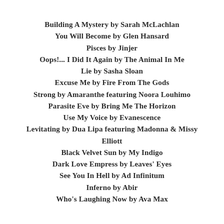Building A Mystery by Sarah McLachlan
You Will Become by Glen Hansard
Pisces by Jinjer
Oops!... I Did It Again by The Animal In Me
Lie by Sasha Sloan
Excuse Me by Fire From The Gods
Strong by Amaranthe featuring Noora Louhimo
Parasite Eve by Bring Me The Horizon
Use My Voice by Evanescence
Levitating by Dua Lipa featuring Madonna & Missy Elliott
Black Velvet Sun by My Indigo
Dark Love Empress by Leaves' Eyes
See You In Hell by Ad Infinitum
Inferno by Abir
Who's Laughing Now by Ava Max